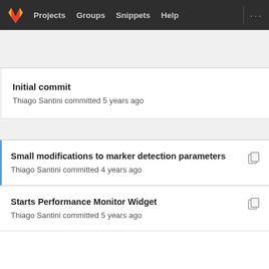Projects  Groups  Snippets  Help
Initial commit
Thiago Santini committed 5 years ago
Small modifications to marker detection parameters
Thiago Santini committed 4 years ago
Starts Performance Monitor Widget
Thiago Santini committed 5 years ago